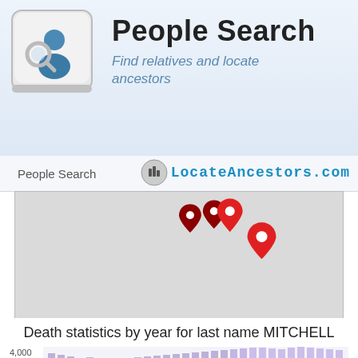[Figure (logo): People Search logo with keyboard key icon showing a person with magnifying glass]
People Search
Find relatives and locate ancestors
People Search   LocateAncestors.com
[Figure (map): Interactive map showing location pins for MITCHELL name occurrences, with red and dark red pins clustered in upper portion. Attribution: Leaflet | Tiles OpenMapTiles | Data OpenStreetMap contributors]
Leaflet | Tiles OpenMapTiles | Data OpenStreetMap contributors
Death statistics by year for last name MITCHELL
[Figure (bar-chart): Bar chart showing death statistics by year for last name MITCHELL, y-axis shows values around 3,200 to 4,000, bars are purple/lavender colored, increasing trend visible at right side]